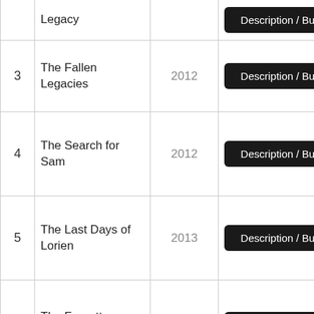| # | Title | Year | Action |
| --- | --- | --- | --- |
|  | Legacy |  | Description / Buy |
| 3 | The Fallen Legacies | 2012 | Description / Buy |
| 4 | The Search for Sam | 2012 | Description / Buy |
| 5 | The Last Days of Lorien | 2013 | Description / Buy |
| 6 | The Forgotten Ones | 2013 | Description / Buy |
| 7 | Hidden Enemy | 2014 | Description / Buy |
| 8 | Five's Legacy | 2014 | Description / Buy |
|  | Return to ... |  | Description / Buy |